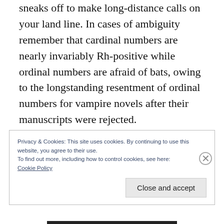sneaks off to make long-distance calls on your land line. In cases of ambiguity remember that cardinal numbers are nearly invariably Rh-positive while ordinal numbers are afraid of bats, owing to the longstanding resentment of ordinal numbers for vampire novels after their manuscripts were rejected.
If you don't like those rules, try some other ones. That'll go well.
Privacy & Cookies: This site uses cookies. By continuing to use this website, you agree to their use.
To find out more, including how to control cookies, see here:
Cookie Policy